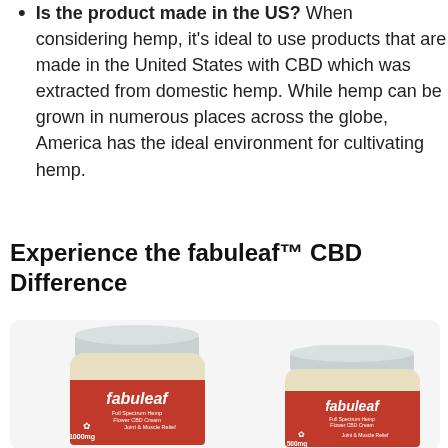Is the product made in the US? When considering hemp, it's ideal to use products that are made in the United States with CBD which was extracted from domestic hemp. While hemp can be grown in numerous places across the globe, America has the ideal environment for cultivating hemp.
Experience the fabuleaf™ CBD Difference
[Figure (photo): Two jars of fabuleaf Full Spectrum Hemp Flower CBD Cream products — one 1000mg and one 500mg for Joint & Muscle Relief, with red labels and silver lids, displayed on a light gray background.]